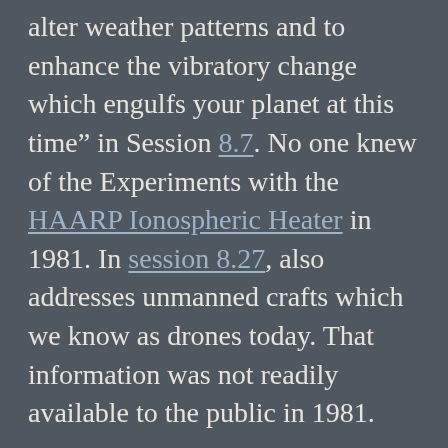alter weather patterns and to enhance the vibratory change which engulfs your planet at this time” in Session 8.7. No one knew of the Experiments with the HAARP Ionospheric Heater in 1981. In session 8.27, also addresses unmanned crafts which we know as drones today. That information was not readily available to the public in 1981.

Geoengineering is being conducted based on the global warming conspiracy. It is a